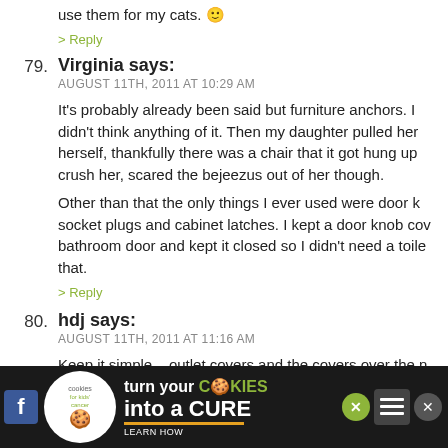use them for my cats. 🙂
> Reply
79. Virginia says:
AUGUST 11TH, 2011 AT 10:29 AM
It's probably already been said but furniture anchors. I didn't think anything of it. Then my daughter pulled herself, thankfully there was a chair that it got hung up crush her, scared the bejeezus out of her though.
Other than that the only things I ever used were door k socket plugs and cabinet latches. I kept a door knob co bathroom door and kept it closed so I didn't need a toil that.
> Reply
80. hdj says:
AUGUST 11TH, 2011 AT 11:16 AM
Keep it simple – outlet covers and the covers over the n
[Figure (infographic): Advertisement banner for 'Cookies for Kids Cancer' with text 'turn your COOKIES into a CURE LEARN HOW' on dark background with cookie logo and social media icons]